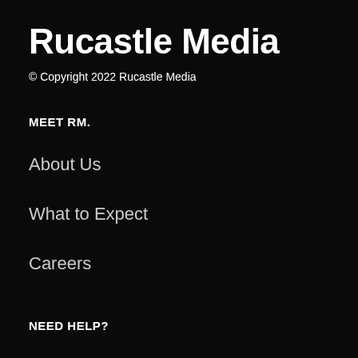Rucastle Media
© Copyright 2022 Rucastle Media
MEET RM.
About Us
What to Expect
Careers
NEED HELP?
Contact Us
My Account
Privacy Policy